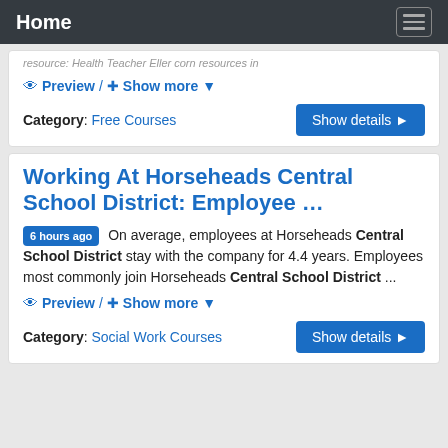Home
Preview / + Show more
Category: Free Courses
Working At Horseheads Central School District: Employee …
6 hours ago  On average, employees at Horseheads Central School District stay with the company for 4.4 years. Employees most commonly join Horseheads Central School District ...
Preview / + Show more
Category: Social Work Courses